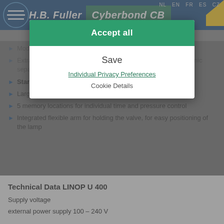H.B. Fuller — Cyberbond CB
NL EN FR ES CZ
ISO 16949, ISO 13485, ISO 9001, ISO 14001
Mode is switchable for single impulse or permanent impulse
Extra low voltage 24 V, external power adapter – 230 V, galvanic separated assembly
Start signal is processed potential-free
Large range of dosing time (0, 01 to 99, 99 sec.)
5 memory locations for individual time and pressure control
Integrated flexible arm for holding the valve, for easy positioning of the lamp
[Figure (screenshot): Cookie consent modal dialog with 'Accept all', 'Save', 'Individual Privacy Preferences', and 'Cookie Details' options overlaid on the H.B. Fuller Cyberbond page]
Technical Data LINOP U 400
Supply voltage
external power supply 100 – 240 V